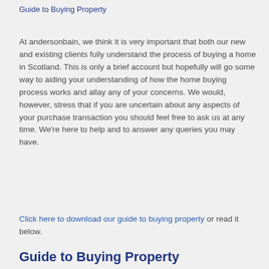Guide to Buying Property
At andersonbain, we think it is very important that both our new and existing clients fully understand the process of buying a home in Scotland. This is only a brief account but hopefully will go some way to aiding your understanding of how the home buying process works and allay any of your concerns. We would, however, stress that if you are uncertain about any aspects of your purchase transaction you should feel free to ask us at any time. We're here to help and to answer any queries you may have.
Click here to download our guide to buying property or read it below.
Guide to Buying Property